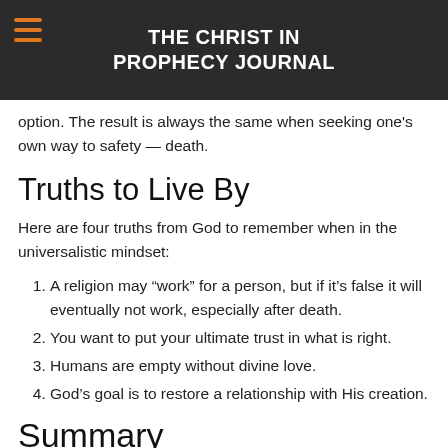THE CHRIST IN PROPHECY JOURNAL
God sends us in His... dislikes the option and seeks another... trust no other option. The result is always the same when seeking one's own way to safety — death.
Truths to Live By
Here are four truths from God to remember when in the universalistic mindset:
A religion may “work” for a person, but if it’s false it will eventually not work, especially after death.
You want to put your ultimate trust in what is right.
Humans are empty without divine love.
God’s goal is to restore a relationship with His creation.
Summary